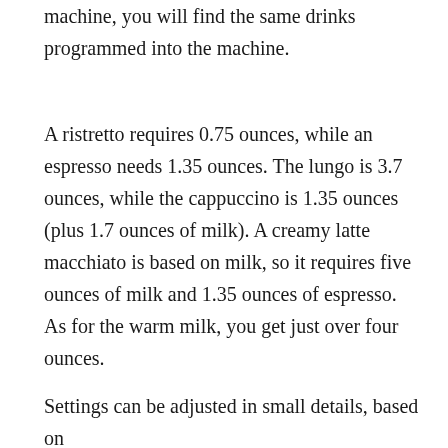machine, you will find the same drinks programmed into the machine.
A ristretto requires 0.75 ounces, while an espresso needs 1.35 ounces. The lungo is 3.7 ounces, while the cappuccino is 1.35 ounces (plus 1.7 ounces of milk). A creamy latte macchiato is based on milk, so it requires five ounces of milk and 1.35 ounces of espresso. As for the warm milk, you get just over four ounces.
Settings can be adjusted in small details, based on